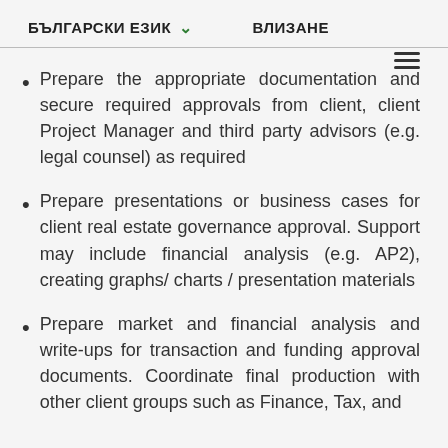БЪЛГАРСКИ ЕЗИК ∨  ВЛИЗАНЕ
Prepare the appropriate documentation and secure required approvals from client, client Project Manager and third party advisors (e.g. legal counsel) as required
Prepare presentations or business cases for client real estate governance approval. Support may include financial analysis (e.g. AP2), creating graphs/ charts / presentation materials
Prepare market and financial analysis and write-ups for transaction and funding approval documents. Coordinate final production with other client groups such as Finance, Tax, and